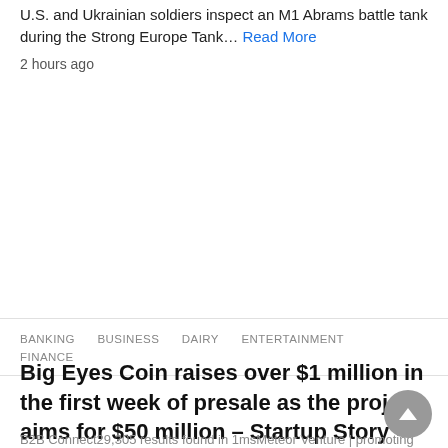U.S. and Ukrainian soldiers inspect an M1 Abrams battle tank during the Strong Europe Tank… Read More
2 hours ago
BANKING  BUSINESS  DAIRY  ENTERTAINMENT  FINANCE
Big Eyes Coin raises over $1 million in the first week of presale as the project aims for $50 million – Startup Story
B2B Connect29,305 results found in 1msMeteor Venture | promoting